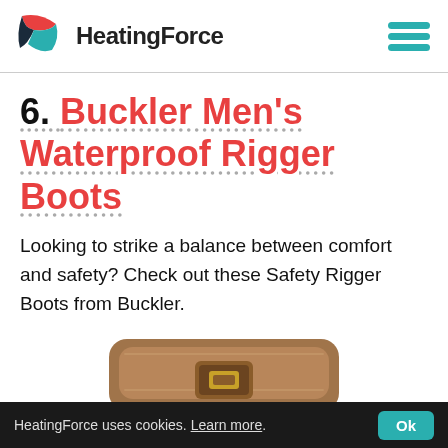HeatingForce
6. Buckler Men's Waterproof Rigger Boots
Looking to strike a balance between comfort and safety? Check out these Safety Rigger Boots from Buckler.
[Figure (photo): Photo of Buckler Men's Waterproof Rigger Boots — tan/brown leather boots viewed from above at an angle]
HeatingForce uses cookies. Learn more. Ok